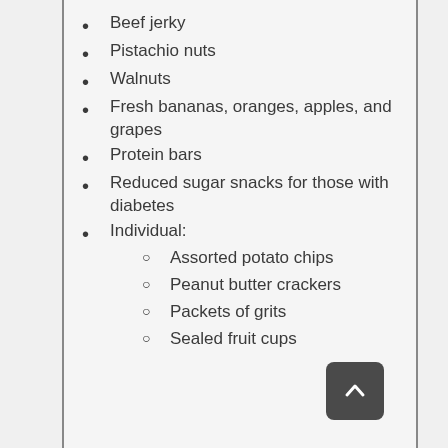Beef jerky
Pistachio nuts
Walnuts
Fresh bananas, oranges, apples, and grapes
Protein bars
Reduced sugar snacks for those with diabetes
Individual:
Assorted potato chips
Peanut butter crackers
Packets of grits
Sealed fruit cups